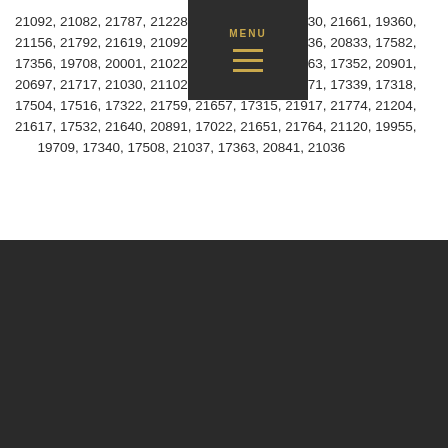21092, 21082, 21787, 21228, 21221, 21234, 20830, 21661, 19360, 21156, 21792, 21619, 21092, 21157, 17538, 21136, 20833, 17582, 17356, 19708, 20001, 21022, 21047, 21001, 21663, 17352, 20901, 20697, 21717, 21030, 21102, 21793, 17579, 20871, 17339, 17318, 17504, 17516, 17322, 21759, 21657, 17315, 21917, 21774, 21204, 21617, 17532, 21640, 20891, 17022, 21651, 21764, 21120, 19955, 19709, 17340, 17508, 21037, 17363, 20841, 21036
OUR LOCATION
[Figure (map): Google Maps view showing Hillendale Country Club, Baltimore County Animal Services, route 145, route 165, and Baldwin area in Maryland]